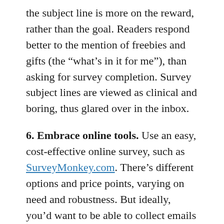the subject line is more on the reward, rather than the goal. Readers respond better to the mention of freebies and gifts (the “what’s in it for me”), than asking for survey completion. Survey subject lines are viewed as clinical and boring, thus glared over in the inbox.
6. Embrace online tools. Use an easy, cost-effective online survey, such as SurveyMonkey.com. There’s different options and price points, varying on need and robustness. But ideally, you’d want to be able to collect emails and tie responses down to the user (email) level.
7. Allow feedback. Always have an “other” field for your survey to...